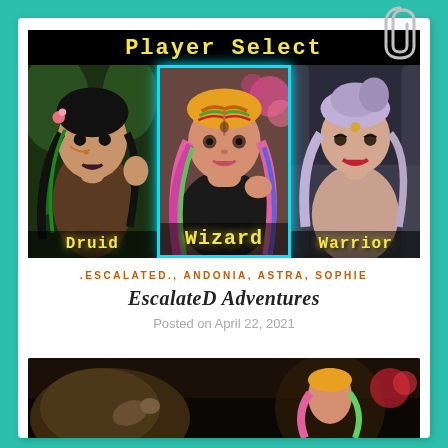[Figure (illustration): Video game 'Player Select' screen showing three female fantasy characters: Druid (left, dark hair with green streaks, face markings), Wizard (center, highlighted with cyan border, pink and rainbow braided hair), and Warrior (right, light hair). Yellow pixel-style text labels each character. The Wizard is selected/highlighted.]
.ESCALATED., ANDONIA, ASTRA, SOPHIE
EscalateD Adventures
Posted on April 22, 2021
[Figure (photo): Partial view of a dark fantasy scene photograph, visible at the bottom of the page.]